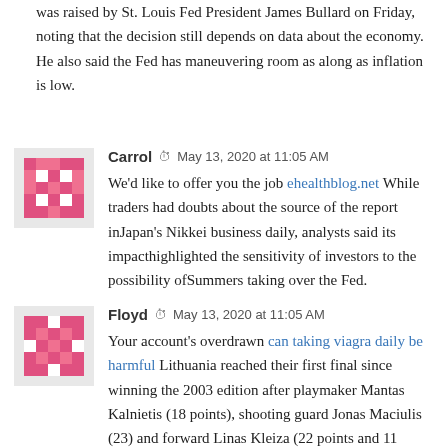was raised by St. Louis Fed President James Bullard on Friday, noting that the decision still depends on data about the economy. He also said the Fed has maneuvering room as along as inflation is low.
Carrol  May 13, 2020 at 11:05 AM
We'd like to offer you the job ehealthblog.net While traders had doubts about the source of the report inJapan's Nikkei business daily, analysts said its impacthighlighted the sensitivity of investors to the possibility ofSummers taking over the Fed.
Floyd  May 13, 2020 at 11:05 AM
Your account's overdrawn can taking viagra daily be harmful Lithuania reached their first final since winning the 2003 edition after playmaker Mantas Kalnietis (18 points), shooting guard Jonas Maciulis (23) and forward Linas Kleiza (22 points and 11 rebounds) overran a Croatian team lacking the shooting